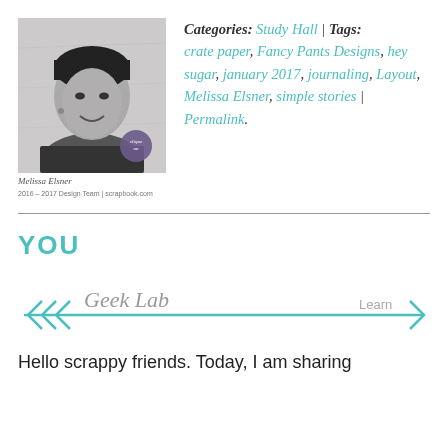[Figure (photo): Black and white portrait photo of Melissa Elsner with caption text and a circular badge/logo overlay. Caption reads 'Melissa Elsner' and small text below.]
Categories: Study Hall | Tags: crate paper, Fancy Pants Designs, hey sugar, january 2017, journaling, Layout, Melissa Elsner, simple stories | Permalink.
YOU
[Figure (infographic): Geek Lab banner with teal arrow pointing right, text 'Geek Lab' in gray italic, and 'Learn' label on the right side with arrow.]
Hello scrappy friends. Today, I am sharing